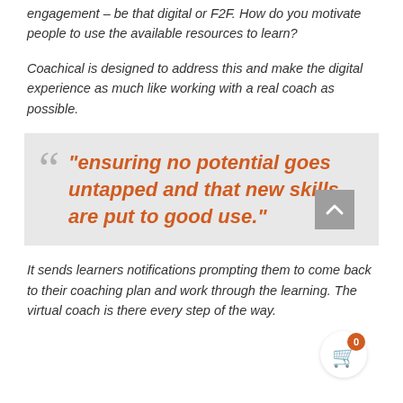engagement – be that digital or F2F. How do you motivate people to use the available resources to learn?
Coachical is designed to address this and make the digital experience as much like working with a real coach as possible.
“ensuring no potential goes untapped and that new skills are put to good use.”
It sends learners notifications prompting them to come back to their coaching plan and work through the learning. The virtual coach is there every step of the way.